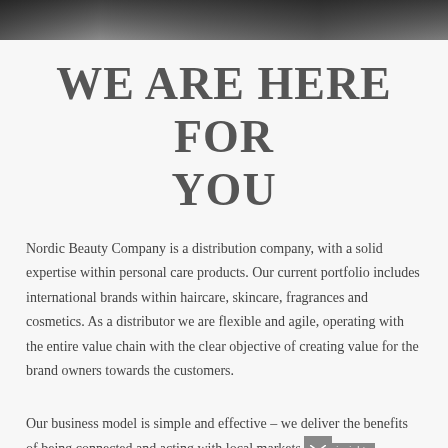[Figure (photo): Dark photograph strip at the top of the page showing people or a scene]
WE ARE HERE FOR YOU
Nordic Beauty Company is a distribution company, with a solid expertise within personal care products. Our current portfolio includes international brands within haircare, skincare, fragrances and cosmetics. As a distributor we are flexible and agile, operating with the entire value chain with the clear objective of creating value for the brand owners towards the customers.
Our business model is simple and effective – we deliver the benefits of being connected and acting with local markets insights and be partners with informed by the high quality of solutions, big or small.